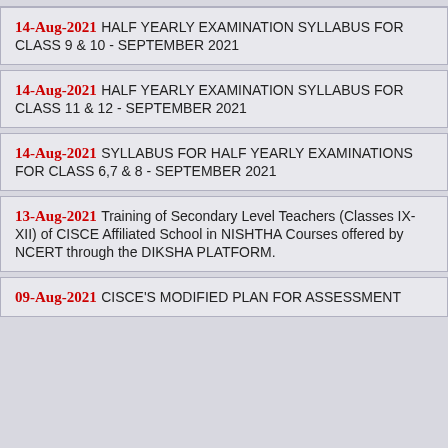14-Aug-2021 HALF YEARLY EXAMINATION SYLLABUS FOR CLASS 9 & 10 - September 2021
14-Aug-2021 HALF YEARLY EXAMINATION SYLLABUS FOR CLASS 11 & 12 - September 2021
14-Aug-2021 SYLLABUS FOR HALF YEARLY EXAMINATIONS FOR CLASS 6,7 & 8 - September 2021
13-Aug-2021 Training of Secondary Level Teachers (Classes IX-XII) of CISCE Affiliated School in NISHTHA Courses offered by NCERT through the DIKSHA PLATFORM.
09-Aug-2021 CISCE'S MODIFIED PLAN FOR ASSESSMENT